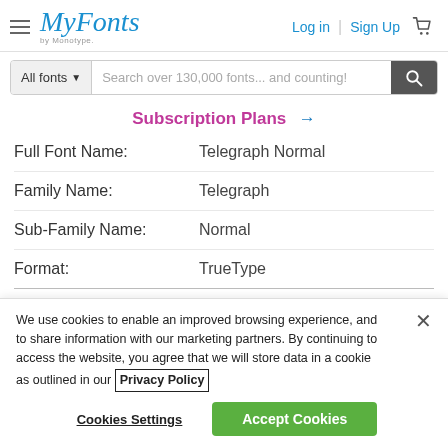MyFonts by Monotype — Log in | Sign Up
All fonts ▼  Search over 130,000 fonts... and counting!
Subscription Plans →
| Label | Value |
| --- | --- |
| Full Font Name: | Telegraph Normal |
| Family Name: | Telegraph |
| Sub-Family Name: | Normal |
| Format: | TrueType |
We use cookies to enable an improved browsing experience, and to share information with our marketing partners. By continuing to access the website, you agree that we will store data in a cookie as outlined in our Privacy Policy
Cookies Settings   Accept Cookies